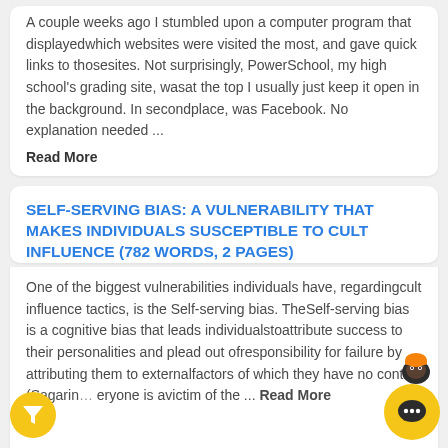A couple weeks ago I stumbled upon a computer program that displayedwhich websites were visited the most, and gave quick links to thosesites. Not surprisingly, PowerSchool, my high school's grading site, wasat the top I usually just keep it open in the background. In secondplace, was Facebook. No explanation needed ... Read More
SELF-SERVING BIAS: A VULNERABILITY THAT MAKES INDIVIDUALS SUSCEPTIBLE TO CULT INFLUENCE (782 WORDS, 2 PAGES)
One of the biggest vulnerabilities individuals have, regardingcult influence tactics, is the Self-serving bias. TheSelf-serving bias is a cognitive bias that leads individualstoattribute success to their personalities and plead out ofresponsibility for failure by attributing them to externalfactors of which they have no control (Sagarin... everyone is avictim of the ... Read More